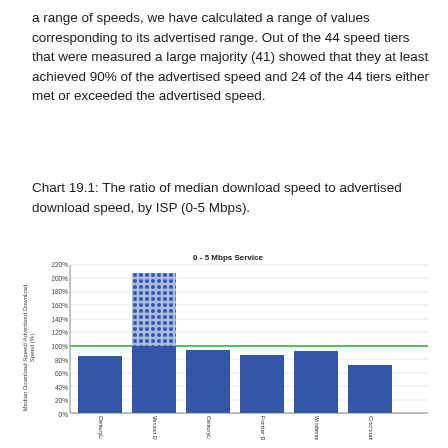a range of speeds, we have calculated a range of values corresponding to its advertised range. Out of the 44 speed tiers that were measured a large majority (41) showed that they at least achieved 90% of the advertised speed and 24 of the 44 tiers either met or exceeded the advertised speed.
Chart 19.1: The ratio of median download speed to advertised download speed, by ISP (0-5 Mbps).
[Figure (bar-chart): 0 - 5 Mbps Service]